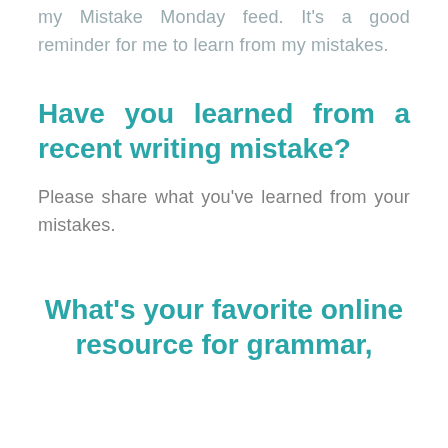my Mistake Monday feed. It's a good reminder for me to learn from my mistakes.
Have you learned from a recent writing mistake?
Please share what you've learned from your mistakes.
What's your favorite online resource for grammar,